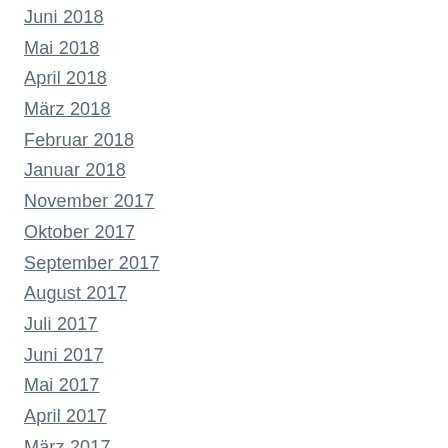Juni 2018
Mai 2018
April 2018
März 2018
Februar 2018
Januar 2018
November 2017
Oktober 2017
September 2017
August 2017
Juli 2017
Juni 2017
Mai 2017
April 2017
März 2017
Februar 2017
Januar 2017
Dezember 2016
November 2016